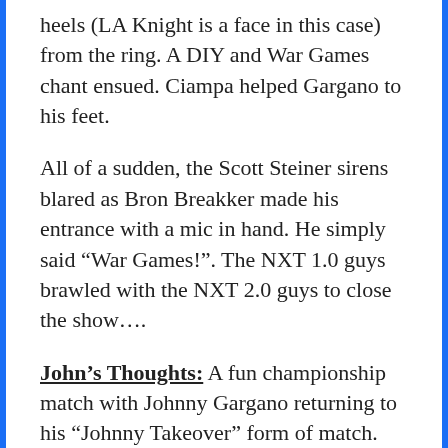heels (LA Knight is a face in this case) from the ring. A DIY and War Games chant ensued. Ciampa helped Gargano to his feet.
All of a sudden, the Scott Steiner sirens blared as Bron Breakker made his entrance with a mic in hand. He simply said “War Games!”. The NXT 1.0 guys brawled with the NXT 2.0 guys to close the show….
John’s Thoughts: A fun championship match with Johnny Gargano returning to his “Johnny Takeover” form of match. He had a fun run as the suburban dad, but Johnny’s main event matches are where it’s at. I’m not 100% sold on D’Angelo’s cartoony character, but I did like the simple storytelling thing of planting the seed of D’Angelo’s involvement earlier in the show with